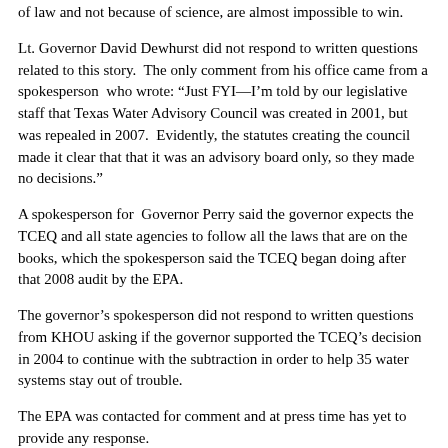of law and not because of science, are almost impossible to win.
Lt. Governor David Dewhurst did not respond to written questions related to this story.  The only comment from his office came from a spokesperson  who wrote: “Just FYI—I’m told by our legislative staff that Texas Water Advisory Council was created in 2001, but was repealed in 2007.  Evidently, the statutes creating the council made it clear that that it was an advisory board only, so they made no decisions.”
A spokesperson for  Governor Perry said the governor expects the TCEQ and all state agencies to follow all the laws that are on the books, which the spokesperson said the TCEQ began doing after that 2008 audit by the EPA.
The governor’s spokesperson did not respond to written questions from KHOU asking if the governor supported the TCEQ’s decision in 2004 to continue with the subtraction in order to help 35 water systems stay out of trouble.
The EPA was contacted for comment and at press time has yet to provide any response.
http://www.khou.com/home